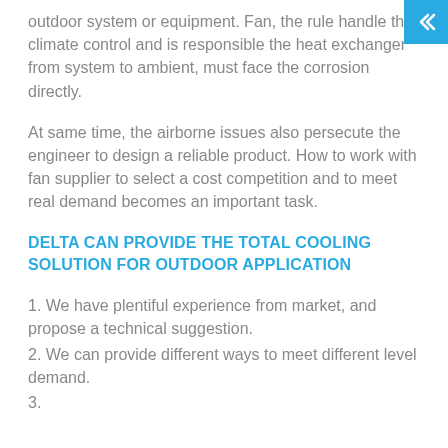outdoor system or equipment. Fan, the rule handle the climate control and is responsible the heat exchanger from system to ambient, must face the corrosion directly.
At same time, the airborne issues also persecute the engineer to design a reliable product. How to work with fan supplier to select a cost competition and to meet real demand becomes an important task.
DELTA CAN PROVIDE THE TOTAL COOLING SOLUTION FOR OUTDOOR APPLICATION
1. We have plentiful experience from market, and propose a technical suggestion.
2. We can provide different ways to meet different level demand.
3.